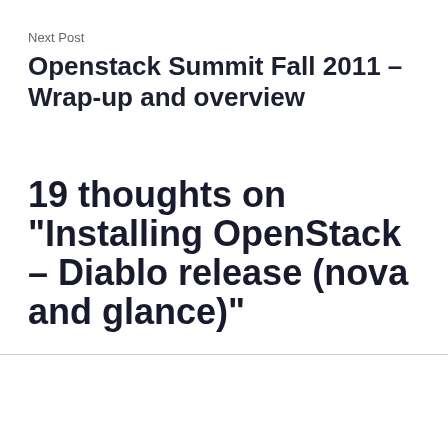Next Post
Openstack Summit Fall 2011 – Wrap-up and overview
19 thoughts on “Installing OpenStack – Diablo release (nova and glance)”